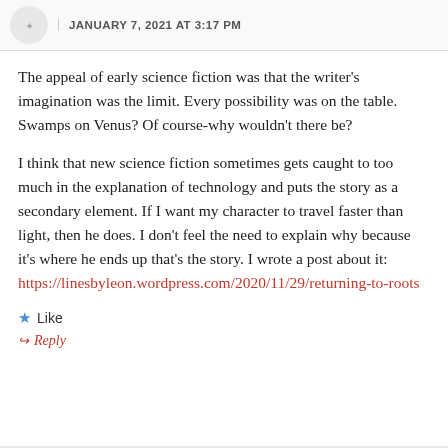JANUARY 7, 2021 AT 3:17 PM
The appeal of early science fiction was that the writer’s imagination was the limit. Every possibility was on the table. Swamps on Venus? Of course-why wouldn’t there be?
I think that new science fiction sometimes gets caught to too much in the explanation of technology and puts the story as a secondary element. If I want my character to travel faster than light, then he does. I don’t feel the need to explain why because it’s where he ends up that’s the story. I wrote a post about it: https://linesbyleon.wordpress.com/2020/11/29/returning-to-roots
★ Like
↪ Reply